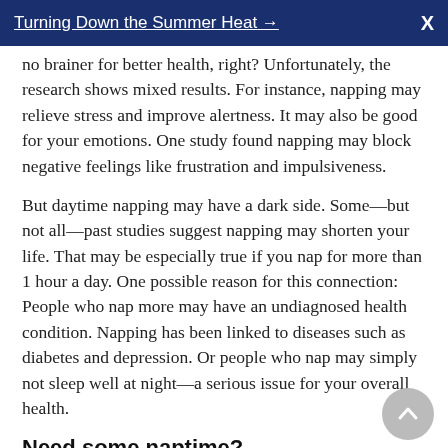Turning Down the Summer Heat →    X
no brainer for better health, right? Unfortunately, the research shows mixed results. For instance, napping may relieve stress and improve alertness. It may also be good for your emotions. One study found napping may block negative feelings like frustration and impulsiveness.
But daytime napping may have a dark side. Some—but not all—past studies suggest napping may shorten your life. That may be especially true if you nap for more than 1 hour a day. One possible reason for this connection: People who nap more may have an undiagnosed health condition. Napping has been linked to diseases such as diabetes and depression. Or people who nap may simply not sleep well at night—a serious issue for your overall health.
Need some naptime?
More research is needed to fully decide if napping is a